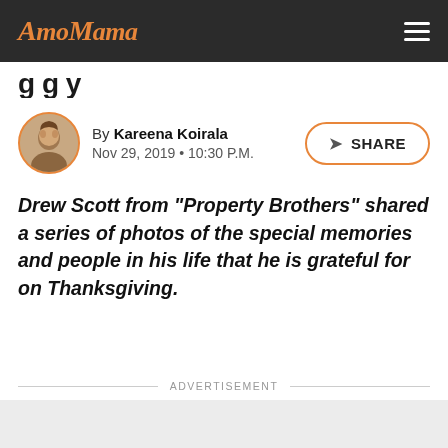AmoMama
[partial title visible, cropped]
By Kareena Koirala
Nov 29, 2019 • 10:30 P.M.
Drew Scott from "Property Brothers" shared a series of photos of the special memories and people in his life that he is grateful for on Thanksgiving.
ADVERTISEMENT